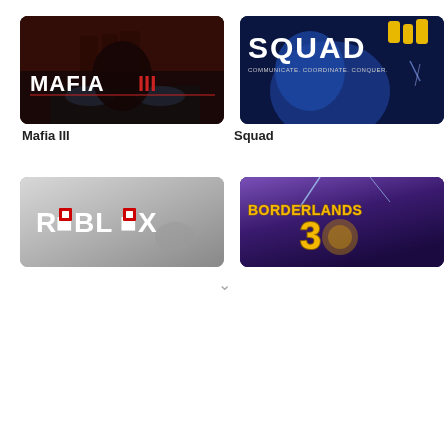[Figure (illustration): Mafia III game cover art showing a man with a gun, dramatic red and dark tone, white text 'MAFIA III']
Mafia III
[Figure (illustration): Squad game cover art with blue monster/creature, yellow character silhouettes, white bold text 'SQUAD', tagline 'COMMUNICATE. COORDINATE. CONQUER.']
Squad
[Figure (illustration): Roblox game cover art with white 'ROBLOX' logo on gray gradient background, black 'O' letters replaced with Roblox logo icon]
[Figure (illustration): Borderlands 3 game cover art with yellow/gold stylized text 'BORDERLANDS 3' on colorful purple/blue background]